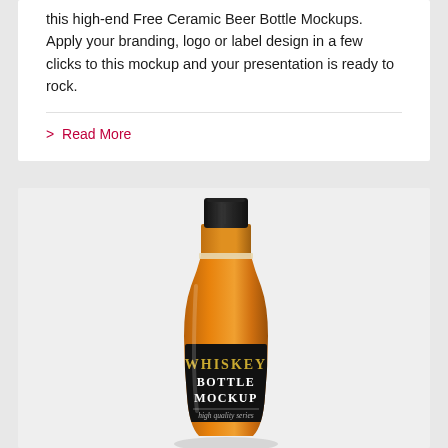this high-end Free Ceramic Beer Bottle Mockups. Apply your branding, logo or label design in a few clicks to this mockup and your presentation is ready to rock.
> Read More
[Figure (photo): A whiskey bottle mockup with amber/orange colored liquid, black cap, and a black label reading 'WHISKEY BOTTLE MOCKUP high quality series' in gold and white text, on a light grey background.]